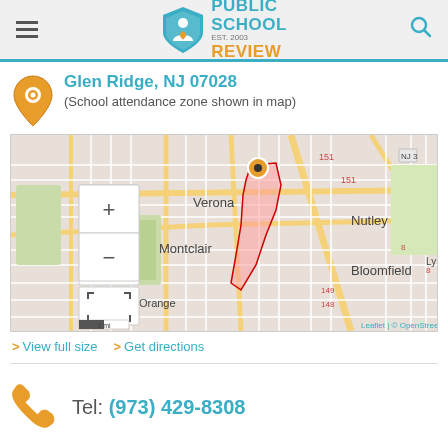Public School Review
Glen Ridge, NJ 07028
(School attendance zone shown in map)
[Figure (map): OpenStreetMap showing Glen Ridge, NJ area with school attendance zone highlighted in red/orange. Surrounding cities visible: Verona, Montclair, Bloomfield, Nutley, West Orange. Map includes zoom controls and scale bar. Attribution: Leaflet | © OpenStreetMap]
> View full size  > Get directions
Tel: (973) 429-8308